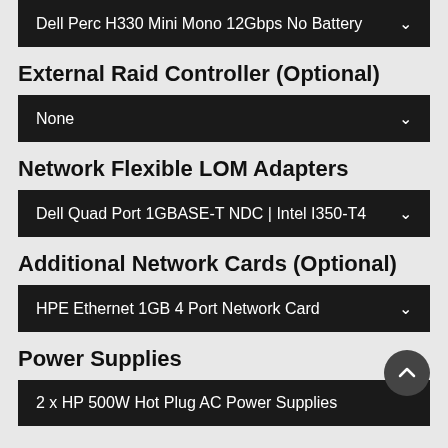Dell Perc H330 Mini Mono 12Gbps No Battery
External Raid Controller (Optional)
None
Network Flexible LOM Adapters
Dell Quad Port 1GBASE-T NDC | Intel I350-T4
Additional Network Cards (Optional)
HPE Ethernet 1GB 4 Port Network Card
Power Supplies
2 x HP 500W Hot Plug AC Power Supplies